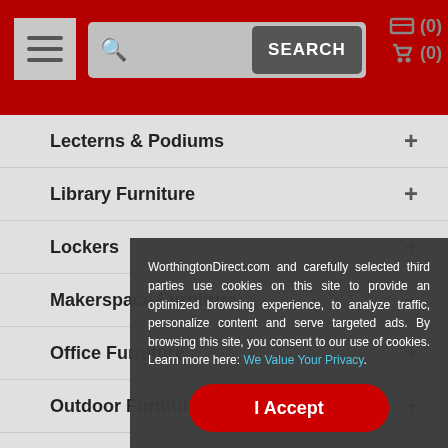WorthingtonDirect.com navigation header with menu button, search bar, and cart icons
Lecterns & Podiums
Library Furniture
Lockers
Makerspace Furniture
Office Furniture
Outdoor Furniture
Partitions And Room Dividers
Preschool & Daycare Furniture
Reception
Sanitation
School
Science
Stages
Stools
WorthingtonDirect.com and carefully selected third parties use cookies on this site to provide an optimized browsing experience, to analyze traffic, personalize content and serve targeted ads. By browsing this site, you consent to our use of cookies. Learn more here: We Value Your Privacy.